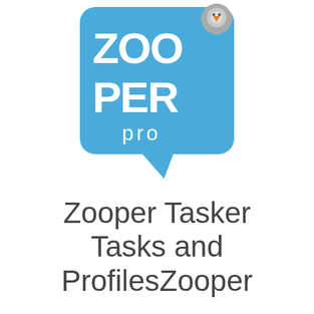[Figure (logo): Zooper Pro app logo: a blue rounded square/speech bubble shape with white text 'ZOO PER' and 'pro', with a gear/robot head icon in the top right corner]
Zooper Tasker Tasks and ProfilesZooper Tasker Tasks and